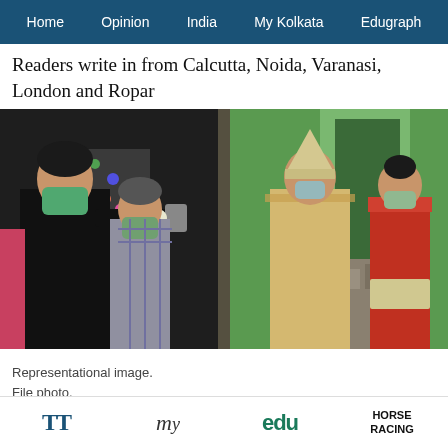Home  Opinion  India  My Kolkata  Edugraph
Readers write in from Calcutta, Noida, Varanasi, London and Ropar
[Figure (photo): Two-scene photo showing COVID-19 safety checks. Left scene: a man in black shirt and green mask using a temperature gun on someone partially visible, with another masked person in background. Right scene: a man in traditional Indian attire and mask facing a woman in red saree and mask, standing near a doorway with green wall.]
Representational image.
File photo.
TT  my  edu  HORSE RACING